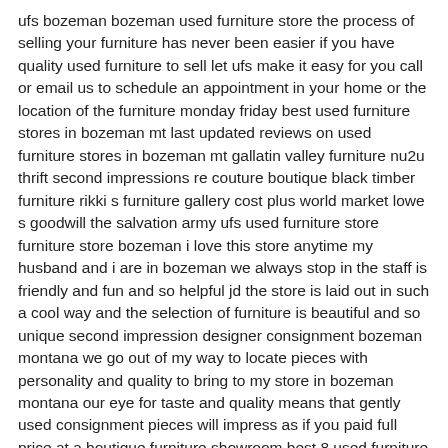ufs bozeman bozeman used furniture store the process of selling your furniture has never been easier if you have quality used furniture to sell let ufs make it easy for you call or email us to schedule an appointment in your home or the location of the furniture monday friday best used furniture stores in bozeman mt last updated reviews on used furniture stores in bozeman mt gallatin valley furniture nu2u thrift second impressions re couture boutique black timber furniture rikki s furniture gallery cost plus world market lowe s goodwill the salvation army ufs used furniture store furniture store bozeman i love this store anytime my husband and i are in bozeman we always stop in the staff is friendly and fun and so helpful jd the store is laid out in such a cool way and the selection of furniture is beautiful and so unique second impression designer consignment bozeman montana we go out of my way to locate pieces with personality and quality to bring to my store in bozeman montana our eye for taste and quality means that gently used consignment pieces will impress as if you paid full price at a boutique furniture showroom best 8 used furniture in bozeman mt with reviews yp com used furniture in bozeman on yp com see reviews photos directions phone numbers and more for the best used furniture in bozeman mt start your search by typing in the business name below the used furniture store or ufs bozeman